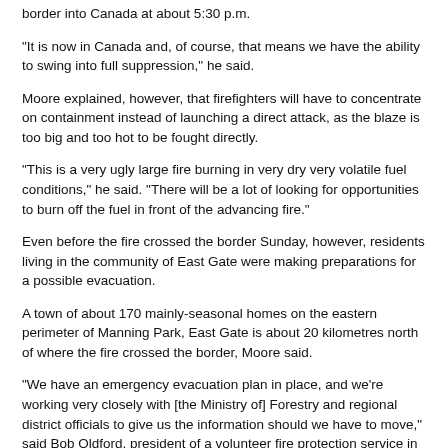border into Canada at about 5:30 p.m.
"It is now in Canada and, of course, that means we have the ability to swing into full suppression," he said.
Moore explained, however, that firefighters will have to concentrate on containment instead of launching a direct attack, as the blaze is too big and too hot to be fought directly.
"This is a very ugly large fire burning in very dry very volatile fuel conditions," he said. "There will be a lot of looking for opportunities to burn off the fuel in front of the advancing fire."
Even before the fire crossed the border Sunday, however, residents living in the community of East Gate were making preparations for a possible evacuation.
A town of about 170 mainly-seasonal homes on the eastern perimeter of Manning Park, East Gate is about 20 kilometres north of where the fire crossed the border, Moore said.
"We have an emergency evacuation plan in place, and we're working very closely with [the Ministry of] Forestry and regional district officials to give us the information should we have to move," said Bob Oldford, president of a volunteer fire protection service in East Gate.
The Tatoosh fire has been burning south of the border since Aug. 22 after lightning struck the bone-dry Pasayten forest. Moore said a resource-strapped U.S. forestry service has left the fire to burn relatively unchecked, focussing its attention instead on a number of more significant forest fires.
Moore said members of the B.C. Forest Service are now also helping to fight the Tripod Creek fire with firefighters at Cat sites, to keep fire...